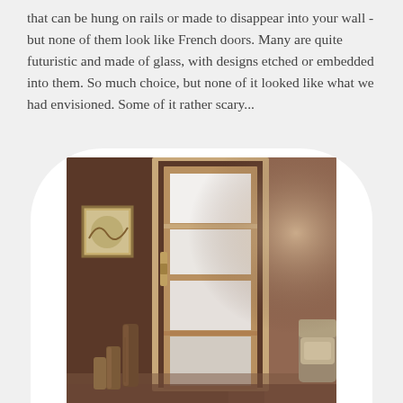that can be hung on rails or made to disappear into your wall - but none of them look like French doors. Many are quite futuristic and made of glass, with designs etched or embedded into them. So much choice, but none of it looked like what we had envisioned. Some of it rather scary...
[Figure (photo): A modern sliding door with frosted glass panels set in a wood frame, mounted in a brown wall. A decorative painting hangs on the wall to the left. Large cylindrical glass vases are on the floor in front. A portion of a sofa is visible on the right. The photo is displayed within an arch/rounded-rectangle frame on a light grey background.]